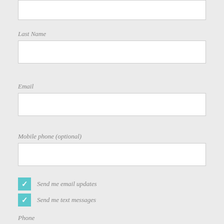[Top input box - partial, cropped]
Last Name
Email
Mobile phone (optional)
Send me email updates
Send me text messages
Phone
Address (Street, City, State, Postal code)